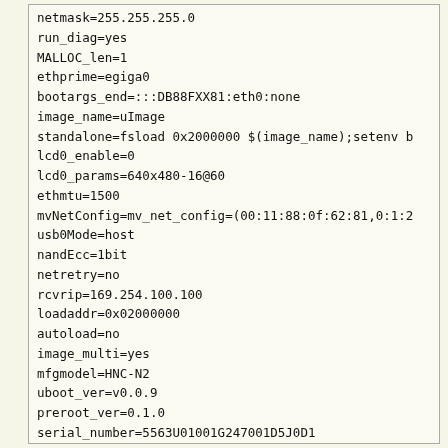netmask=255.255.255.0
run_diag=yes
MALLOC_len=1
ethprime=egiga0
bootargs_end=:::DB88FXX81:eth0:none
image_name=uImage
standalone=fsload 0x2000000 $(image_name);setenv b
lcd0_enable=0
lcd0_params=640x480-16@60
ethmtu=1500
mvNetConfig=mv_net_config=(00:11:88:0f:62:81,0:1:2
usb0Mode=host
nandEcc=1bit
netretry=no
rcvrip=169.254.100.100
loadaddr=0x02000000
autoload=no
image_multi=yes
mfgmodel=HNC-N2
uboot_ver=v0.0.9
preroot_ver=0.1.0
serial_number=5563U01001G247001D5J0D1
opid=Z11101935
ethaddr=00:01:DB:1E:24:F2
serialNo=560722483400721
modelname=56072
runintime=10000
ftpserver=10.41.34.121
testfile=100M
mfgtest_state=final_tested_ok